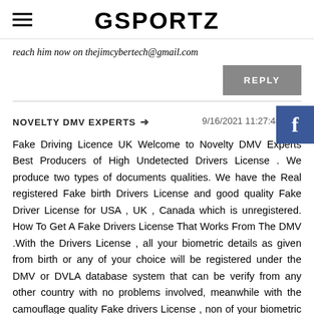GSPORTZ
reach him now on thejimcybertech@gmail.com
REPLY
NOVELTY DMV EXPERTS
9/16/2021 11:27:48 pm
Fake Driving Licence UK Welcome to Novelty DMV Experts Best Producers of High Undetected Drivers License . We produce two types of documents qualities. We have the Real registered Fake birth Drivers License and good quality Fake Driver License for USA , UK , Canada which is unregistered. How To Get A Fake Drivers License That Works From The DMV .With the Drivers License , all your biometric details as given from birth or any of your choice will be registered under the DMV or DVLA database system that can be verify from any other country with no problems involved, meanwhile with the camouflage quality Fake drivers License , non of your biometric details will be under the government system, but it can not be detected as fake with naked eyes, except with the use of machines